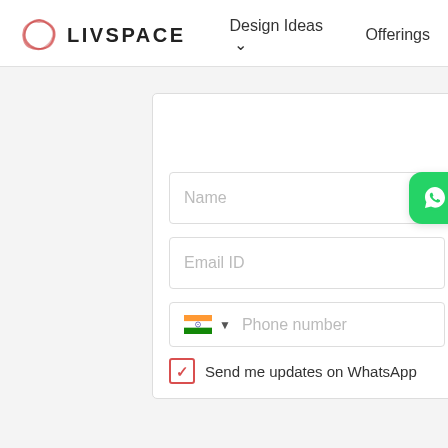LIVSPACE — Design Ideas, Offerings
[Figure (screenshot): Livspace website header with logo, navigation items 'Design Ideas' with dropdown and 'Offerings']
[Figure (screenshot): Contact/lead capture form with Name, Email ID, Phone number fields, WhatsApp floating button, and 'Send me updates on WhatsApp' checkbox]